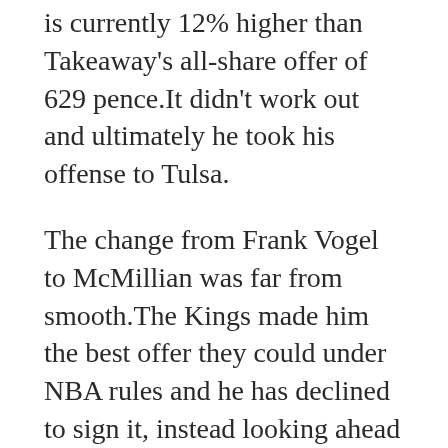is currently 12% higher than Takeaway's all-share offer of 629 pence.It didn't work out and ultimately he took his offense to Tulsa.
The change from Frank Vogel to McMillian was far from smooth.The Kings made him the best offer they could under NBA rules and he has declined to sign it, instead looking ahead to the offseason, when he can become a restricted free agent.Robert Williams 6.Rising temperatures will also lead to higher levels of malnutrition as crop yields will reduce.
Any conversations were centered around other Tampa Bay players we represented.At the end of the day, said defensive back Chris Davis,